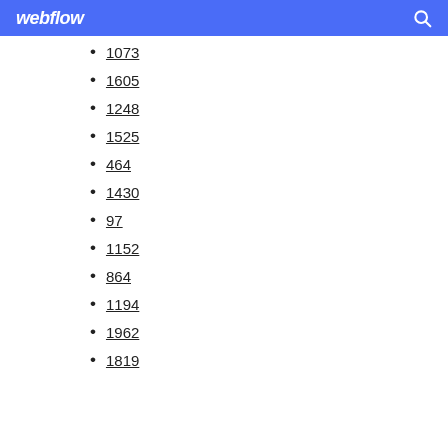webflow
1073
1605
1248
1525
464
1430
97
1152
864
1194
1962
1819